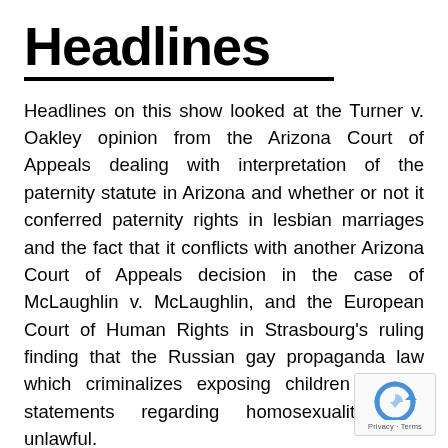Headlines
Headlines on this show looked at the Turner v. Oakley opinion from the Arizona Court of Appeals dealing with interpretation of the paternity statute in Arizona and whether or not it conferred paternity rights in lesbian marriages and the fact that it conflicts with another Arizona Court of Appeals decision in the case of McLaughlin v. McLaughlin, and the European Court of Human Rights in Strasbourg’s ruling finding that the Russian gay propaganda law which criminalizes exposing children to any statements regarding homosexuality was unlawful.
[Figure (logo): reCAPTCHA badge with recycling-arrow icon and Privacy · Terms text]